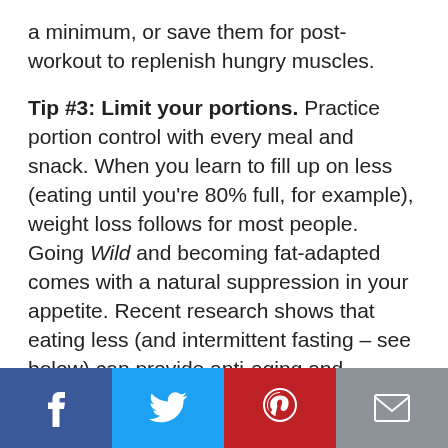a minimum, or save them for post-workout to replenish hungry muscles.
Tip #3: Limit your portions. Practice portion control with every meal and snack. When you learn to fill up on less (eating until you're 80% full, for example), weight loss follows for most people. Going Wild and becoming fat-adapted comes with a natural suppression in your appetite. Recent research shows that eating less (and intermittent fasting – see below) can provide anti-aging and longevity benefits, as well.
[Figure (infographic): Social sharing bar with four buttons: Facebook (blue), Twitter (light blue), Pinterest (red), Email (grey)]